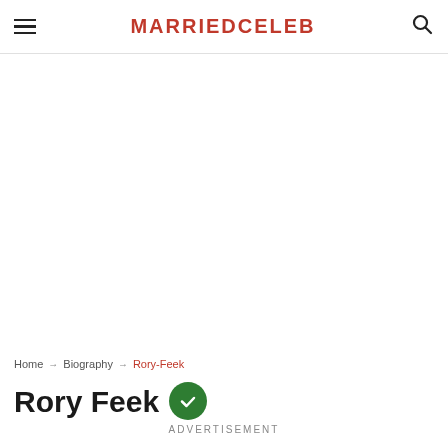MARRIEDCELEB
[Figure (other): Large white advertisement/blank area below header]
Home → Biography → Rory-Feek
Rory Feek
ADVERTISEMENT